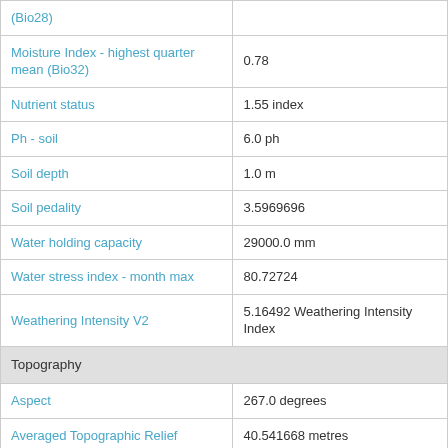| Attribute | Value |
| --- | --- |
| (Bio28) |  |
| Moisture Index - highest quarter mean (Bio32) | 0.78 |
| Nutrient status | 1.55 index |
| Ph - soil | 6.0 ph |
| Soil depth | 1.0 m |
| Soil pedality | 3.5969696 |
| Water holding capacity | 29000.0 mm |
| Water stress index - month max | 80.72724 |
| Weathering Intensity V2 | 5.16492 Weathering Intensity Index |
| Topography |  |
| Aspect | 267.0 degrees |
| Averaged Topographic Relief | 40.541668 metres |
| Bathymetry and Elvation 9 sec | 125.0 m |